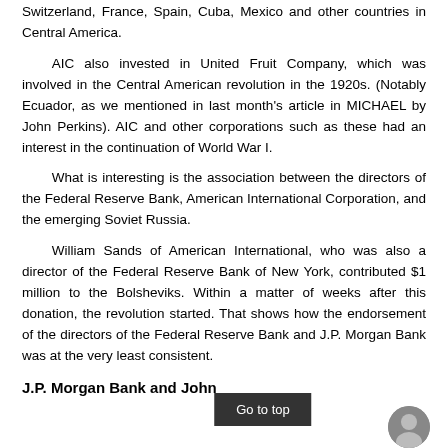Switzerland, France, Spain, Cuba, Mexico and other countries in Central America.
AIC also invested in United Fruit Company, which was involved in the Central American revolution in the 1920s. (Notably Ecuador, as we mentioned in last month's article in MICHAEL by John Perkins). AIC and other corporations such as these had an interest in the continuation of World War I.
What is interesting is the association between the directors of the Federal Reserve Bank, American International Corporation, and the emerging Soviet Russia.
William Sands of American International, who was also a director of the Federal Reserve Bank of New York, contributed $1 million to the Bolsheviks. Within a matter of weeks after this donation, the revolution started. That shows how the endorsement of the directors of the Federal Reserve Bank and J.P. Morgan Bank was at the very least consistent.
J.P. Morgan Bank and John